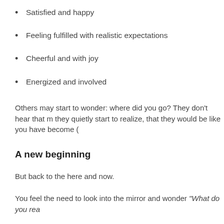Satisfied and happy
Feeling fulfilled with realistic expectations
Cheerful and with joy
Energized and involved
Others may start to wonder: where did you go? They don't hear that m they quietly start to realize, that they would be like you have become (
A new beginning
But back to the here and now.
You feel the need to look into the mirror and wonder "What do you rea
Perhaps you have a first idea about what that would be. Silently you a